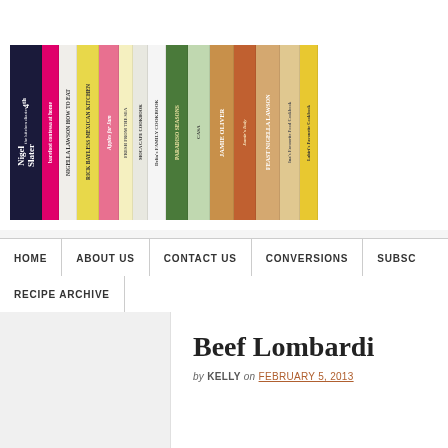[Figure (photo): A row of cookbooks arranged spine-out on a shelf, including titles by Nigel Slater, Nigella Lawson, Rick Bayless, Jamie Oliver, and others.]
HOME | ABOUT US | CONTACT US | CONVERSIONS | SUBSC... | RECIPE ARCHIVE
Beef Lombardi
by KELLY on FEBRUARY 5, 2013